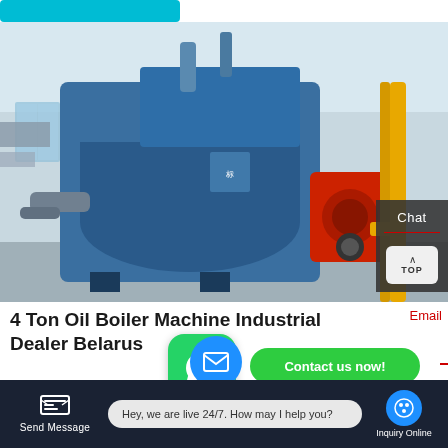[Figure (photo): Industrial boiler machine in a factory setting. A large blue cylindrical boiler with red burner components and yellow support frame, in a white industrial facility.]
4 Ton Oil Boiler Machine Industrial Dealer Belarus
6 Ton Boiler Plant Industrial Best Selling Belarus. Agent 4 Ton Gas Boiler Plant Industrial Belarus. 4 ton steam boiler...